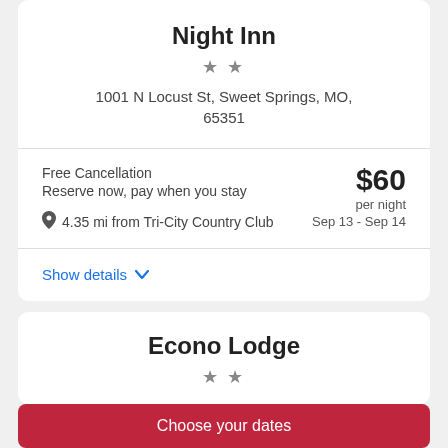Night Inn
★ ★
1001 N Locust St, Sweet Springs, MO, 65351
Free Cancellation
Reserve now, pay when you stay
📍 4.35 mi from Tri-City Country Club
$60 per night
Sep 13 - Sep 14
Show details
Econo Lodge
★ ★
Choose your dates